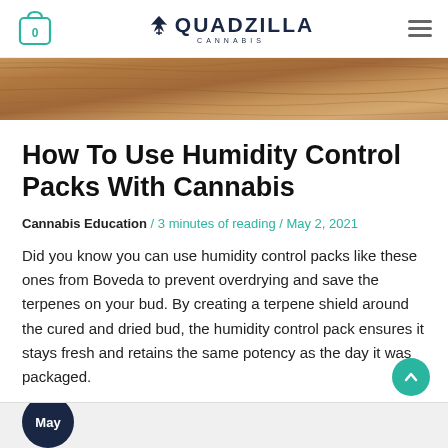QUADZILLA CANNABIS — navigation header with cart icon and menu
[Figure (photo): Close-up of wood grain texture, warm brown tones]
How To Use Humidity Control Packs With Cannabis
Cannabis Education / 3 minutes of reading / May 2, 2021
Did you know you can use humidity control packs like these ones from Boveda to prevent overdrying and save the terpenes on your bud. By creating a terpene shield around the cured and dried bud, the humidity control pack ensures it stays fresh and retains the same potency as the day it was packaged.